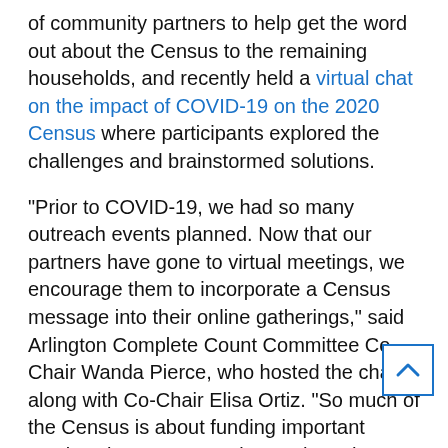of community partners to help get the word out about the Census to the remaining households, and recently held a virtual chat on the impact of COVID-19 on the 2020 Census where participants explored the challenges and brainstormed solutions.
"Prior to COVID-19, we had so many outreach events planned. Now that our partners have gone to virtual meetings, we encourage them to incorporate a Census message into their online gatherings," said Arlington Complete Count Committee Co-Chair Wanda Pierce, who hosted the chat along with Co-Chair Elisa Ortiz. "So much of the Census is about funding important services in our community" such as those needed during this pandemic.
"Currently, households have several social-distance op[tions] to take the Census: it's still online and available over the phone, and the Census Bureau is sending questionnaires